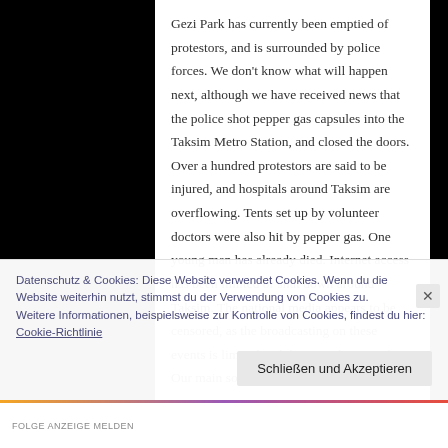Gezi Park has currently been emptied of protestors, and is surrounded by police forces. We don't know what will happen next, although we have received news that the police shot pepper gas capsules into the Taksim Metro Station, and closed the doors. Over a hundred protestors are said to be injured, and hospitals around Taksim are overflowing. Tents set up by volunteer doctors were also hit by pepper gas. One young man has already died. Internet access has been limited or shut down around Taksim. The national media appears to be censored, as the broadcasting on these events is limited and does not depict reality. Our main source of information is
Datenschutz & Cookies: Diese Website verwendet Cookies. Wenn du die Website weiterhin nutzt, stimmst du der Verwendung von Cookies zu. Weitere Informationen, beispielsweise zur Kontrolle von Cookies, findest du hier: Cookie-Richtlinie
Schließen und Akzeptieren